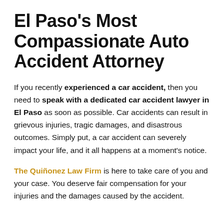El Paso’s Most Compassionate Auto Accident Attorney
If you recently experienced a car accident, then you need to speak with a dedicated car accident lawyer in El Paso as soon as possible. Car accidents can result in grievous injuries, tragic damages, and disastrous outcomes. Simply put, a car accident can severely impact your life, and it all happens at a moment’s notice.
The Quiñonez Law Firm is here to take care of you and your case. You deserve fair compensation for your injuries and the damages caused by the accident.